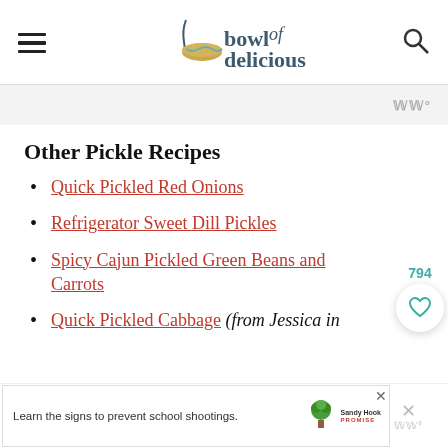bowl of delicious
Other Pickle Recipes
Quick Pickled Red Onions
Refrigerator Sweet Dill Pickles
Spicy Cajun Pickled Green Beans and Carrots
Quick Pickled Cabbage (from Jessica in